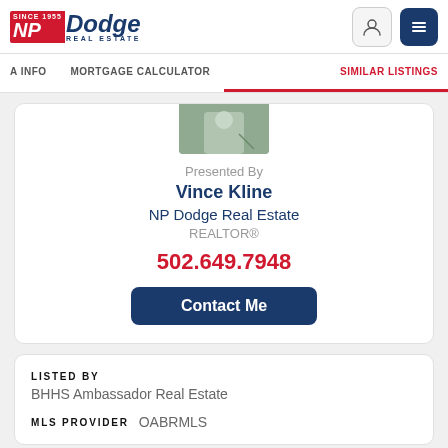NP Dodge Real Estate – Since 1855
A INFO   MORTGAGE CALCULATOR   SIMILAR LISTINGS
[Figure (photo): Partial photo of a person/agent, cropped at top]
Presented By
Vince Kline
NP Dodge Real Estate
REALTOR®
502.649.7948
Contact Me
LISTED BY
BHHS Ambassador Real Estate
MLS PROVIDER   OABRMLS